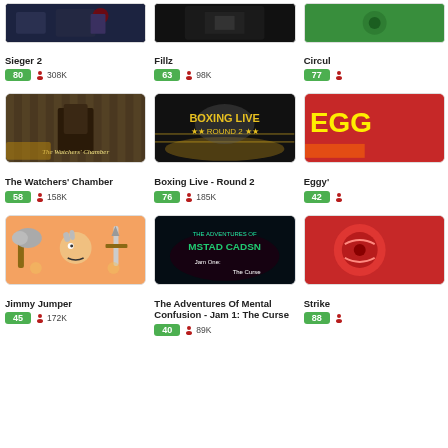[Figure (screenshot): Sieger 2 game thumbnail - dark scene]
Sieger 2
80  308K
[Figure (screenshot): Fillz game thumbnail - dark background]
Fillz
63  98K
[Figure (screenshot): Circul game thumbnail - green background]
Circul
77
[Figure (screenshot): The Watchers' Chamber game thumbnail]
The Watchers' Chamber
58  158K
[Figure (screenshot): Boxing Live - Round 2 game thumbnail]
Boxing Live - Round 2
76  185K
[Figure (screenshot): Eggy game thumbnail - red background]
Eggy'
42
[Figure (screenshot): Jimmy Jumper game thumbnail]
Jimmy Jumper
45  172K
[Figure (screenshot): The Adventures Of Mental Confusion - Jam 1: The Curse game thumbnail]
The Adventures Of Mental Confusion - Jam 1: The Curse
40  89K
[Figure (screenshot): Strike game thumbnail - partially visible]
Strike
88